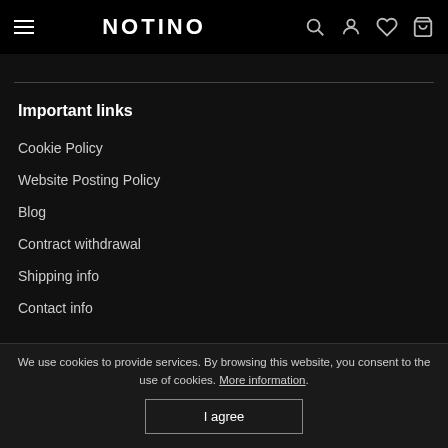NOTINO
Important links
Cookie Policy
Website Posting Policy
Blog
Contract withdrawal
Shipping info
Contact info
Terms and Conditions
Complaints
We use cookies to provide services. By browsing this website, you consent to the use of cookies. More information.
I agree